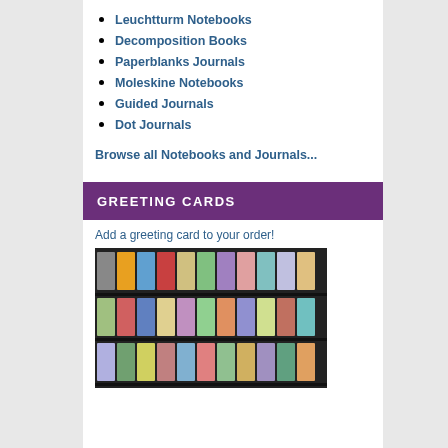Leuchtturm Notebooks
Decomposition Books
Paperblanks Journals
Moleskine Notebooks
Guided Journals
Dot Journals
Browse all Notebooks and Journals...
GREETING CARDS
Add a greeting card to your order!
[Figure (photo): Display rack of greeting cards arranged in rows on shelves, showing various colorful designs]